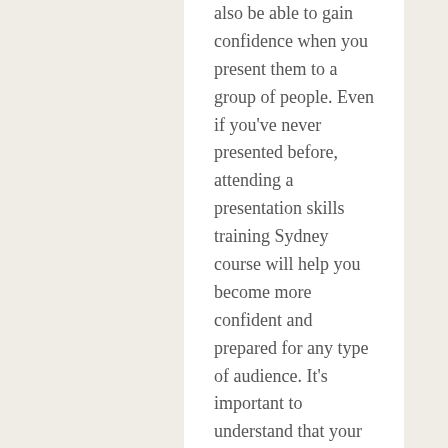also be able to gain confidence when you present them to a group of people. Even if you've never presented before, attending a presentation skills training Sydney course will help you become more confident and prepared for any type of audience. It's important to understand that your audience learns differently, so your presentation style should be adapted to suit your audience.
Moreover, presentations require a great deal of